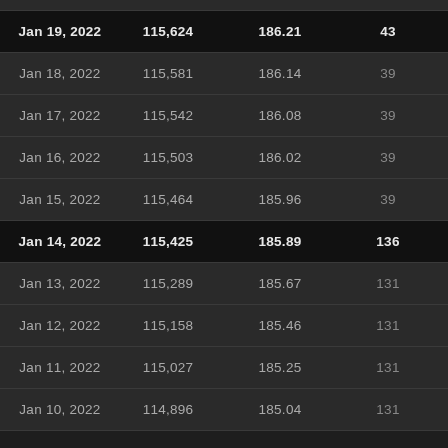| Date | Value1 | Value2 | Value3 |
| --- | --- | --- | --- |
| Jan 19, 2022 | 115,624 | 186.21 | 43 |
| Jan 18, 2022 | 115,581 | 186.14 | 39 |
| Jan 17, 2022 | 115,542 | 186.08 | 39 |
| Jan 16, 2022 | 115,503 | 186.02 | 39 |
| Jan 15, 2022 | 115,464 | 185.96 | 39 |
| Jan 14, 2022 | 115,425 | 185.89 | 136 |
| Jan 13, 2022 | 115,289 | 185.67 | 131 |
| Jan 12, 2022 | 115,158 | 185.46 | 131 |
| Jan 11, 2022 | 115,027 | 185.25 | 131 |
| Jan 10, 2022 | 114,896 | 185.04 | 131 |